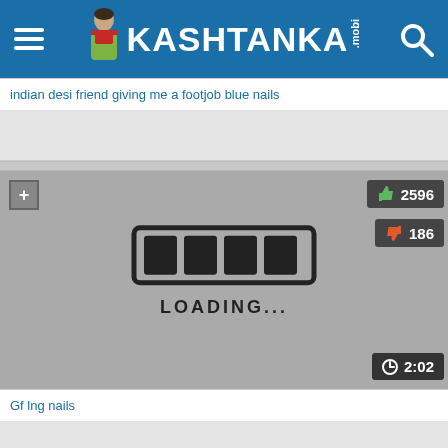KASHTANKA.mobi
indian desi friend giving me a footjob blue nails
[Figure (screenshot): Video loading placeholder with loading bar graphic and LOADING... text, with like count 2596, dislike count 186, and duration 2:02]
Gf lng nails